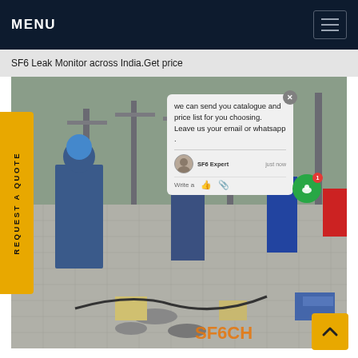MENU
SF6 Leak Monitor across India.Get price
[Figure (photo): Workers in blue hard hats and coveralls at an electrical substation outdoor facility. Equipment, cables, and tools are visible on the ground. A chat popup overlay is visible on the right side of the image with the message: 'we can send you catalogue and price list for you choosing. Leave us your email or whatsapp.' Attributed to 'SF6 Expert - just now'. A vertical yellow tab on the left reads 'REQUEST A QUOTE'. A watermark 'SF6CH' is visible at the bottom right.]
we can send you catalogue and price list for you choosing. Leave us your email or whatsapp .
SF6 Expert    just now
Write a